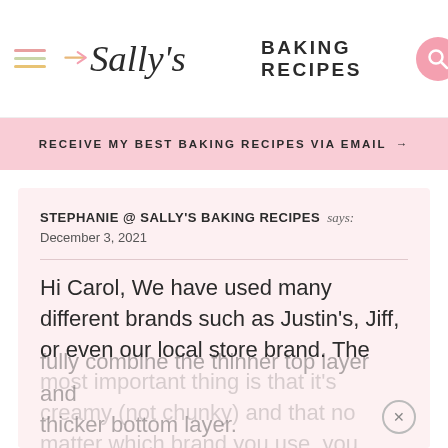Sally's Baking Recipes
RECEIVE MY BEST BAKING RECIPES VIA EMAIL →
STEPHANIE @ SALLY'S BAKING RECIPES says:
December 3, 2021
Hi Carol, We have used many different brands such as Justin's, Jiff, or even our local store brand. The most important thing is that it's creamy (not chunky) and that no matter which brand you use, you pour out excess oil and stir it well to fully combine the thinner top layer and thicker bottom layer.